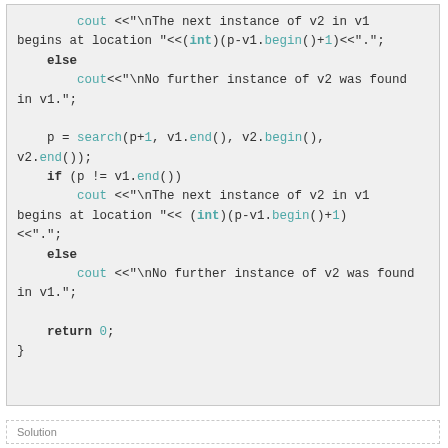[Figure (screenshot): Code block showing C++ source code with cout and search statements, keywords in bold, function names and numbers in teal/cyan, on a light gray background with a border.]
Solution